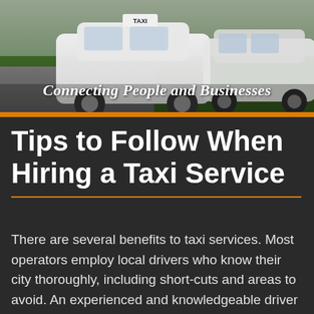[Figure (photo): White taxi vehicles parked on a road with grass in the background]
Connecting People and Businesses
Tips to Follow When Hiring a Taxi Service
There are several benefits to taxi services. Most operators employ local drivers who know their city thoroughly, including short-cuts and areas to avoid. An experienced and knowledgeable driver will take the optimal route to ensure you reach your destination on time. They will take various precautions and obey traffic rules to ensure your ride is safe,